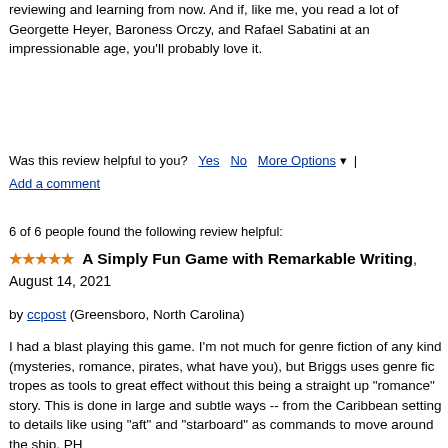reviewing and learning from now. And if, like me, you read a lot of Georgette Heyer, Baroness Orczy, and Rafael Sabatini at an impressionable age, you'll probably love it.
Was this review helpful to you?  Yes  No  More Options  |  Add a comment
6 of 6 people found the following review helpful:
A Simply Fun Game with Remarkable Writing, August 14, 2021
by ccpost (Greensboro, North Carolina)
I had a blast playing this game. I'm not much for genre fiction of any kind (mysteries, romance, pirates, what have you), but Briggs uses genre fic tropes as tools to great effect without this being a straight up "romance" story. This is done in large and subtle ways -- from the Caribbean setting to details like using "aft" and "starboard" as commands to move around the ship. PH